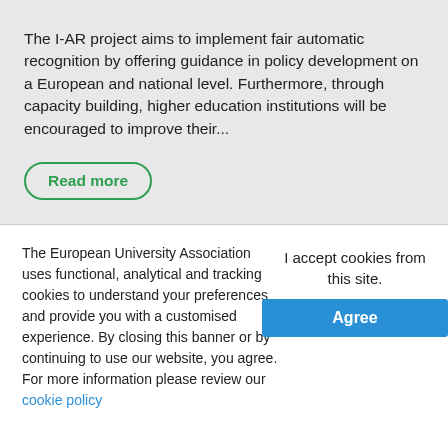The I-AR project aims to implement fair automatic recognition by offering guidance in policy development on a European and national level. Furthermore, through capacity building, higher education institutions will be encouraged to improve their...
Read more
The European University Association uses functional, analytical and tracking cookies to understand your preferences and provide you with a customised experience. By closing this banner or by continuing to use our website, you agree. For more information please review our cookie policy
I accept cookies from this site.
Agree